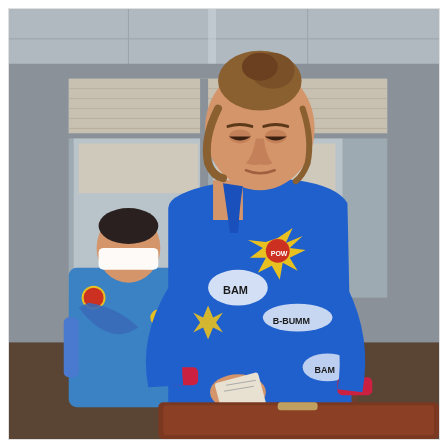[Figure (photo): A woman wearing a blue comic-book print shirt (with 'BAM', 'BOOM', 'BANG' text graphics) looks down while handling papers or items over a brown suitcase or table. She has her hair up in a bun. In the background, another person sits wearing a white head bandage and an arm sling, also dressed in a colorful comic-print outfit. The setting appears to be a hospital room or similar interior space with a gray ceiling, large windows with roller blinds, and muted lighting.]